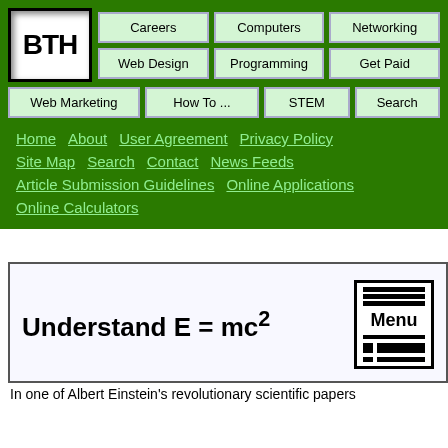[Figure (logo): BTH logo - black bold text on white background with border]
Careers | Computers | Networking | Web Design | Programming | Get Paid | Web Marketing | How To ... | STEM | Search
Home   About   User Agreement   Privacy Policy
Site Map   Search   Contact   News Feeds
Article Submission Guidelines   Online Applications
Online Calculators
Understand E = mc²
[Figure (other): Menu icon with horizontal bars and Menu text]
In one of Albert Einstein's revolutionary scientific papers